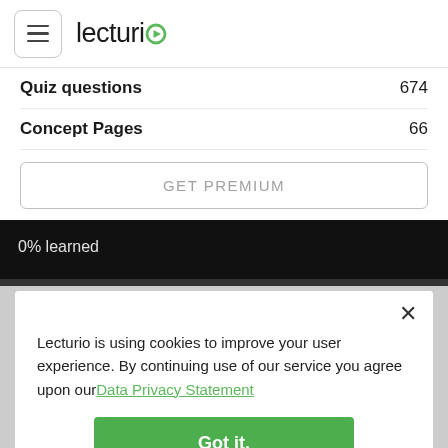[Figure (logo): Lecturio logo with hamburger menu icon]
| Quiz questions | 674 |
| Concept Pages | 66 |
GET PREMIUM
0% learned
Lecturio is using cookies to improve your user experience. By continuing use of our service you agree upon our Data Privacy Statement
Got it.